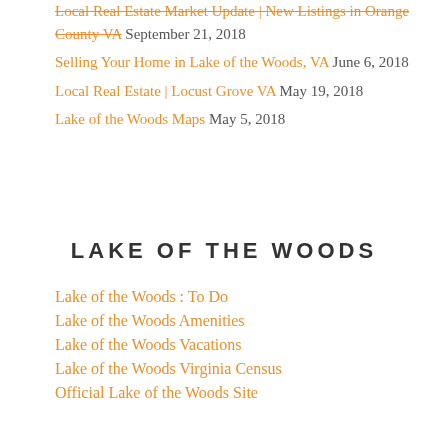Local Real Estate Market Update | New Listings in Orange County VA September 21, 2018
Selling Your Home in Lake of the Woods, VA June 6, 2018
Local Real Estate | Locust Grove VA May 19, 2018
Lake of the Woods Maps May 5, 2018
LAKE OF THE WOODS
Lake of the Woods : To Do
Lake of the Woods Amenities
Lake of the Woods Vacations
Lake of the Woods Virginia Census
Official Lake of the Woods Site